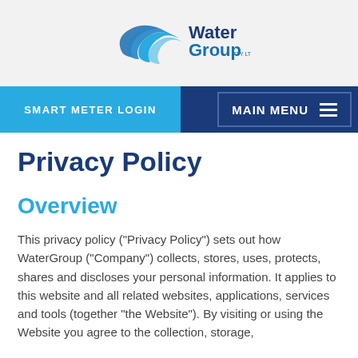[Figure (logo): WaterGroup logo with blue wave/swoosh graphic and 'Water Group' text in blue]
SMART METER LOGIN | MAIN MENU
Privacy Policy
Overview
This privacy policy ("Privacy Policy") sets out how WaterGroup ("Company") collects, stores, uses, protects, shares and discloses your personal information. It applies to this website and all related websites, applications, services and tools (together "the Website"). By visiting or using the Website you agree to the collection, storage, use and disclosure of your personal information in accordance with